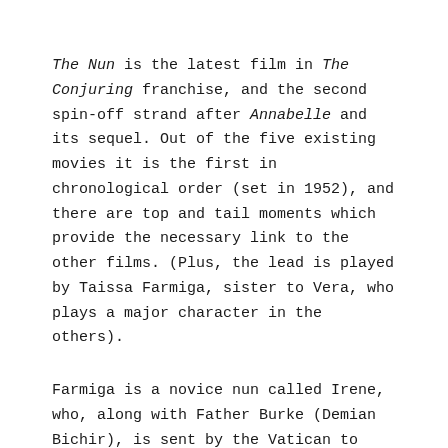The Nun is the latest film in The Conjuring franchise, and the second spin-off strand after Annabelle and its sequel. Out of the five existing movies it is the first in chronological order (set in 1952), and there are top and tail moments which provide the necessary link to the other films. (Plus, the lead is played by Taissa Farmiga, sister to Vera, who plays a major character in the others).
Farmiga is a novice nun called Irene, who, along with Father Burke (Demian Bichir), is sent by the Vatican to investigate the grisly suicide of a nun at a remote Romanian convent (mentioned as the real life Carta Monstaery – but not actually shot there). They